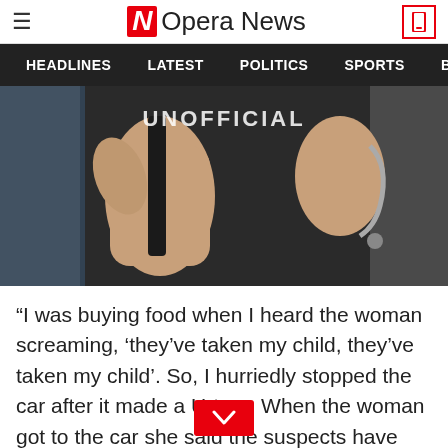Opera News
[Figure (screenshot): Navigation bar with menu items: HEADLINES, LATEST, POLITICS, SPORTS]
[Figure (photo): Close-up photo of hands holding a dark object, possibly a weapon or tool, with text overlay reading UNOFFICIAL]
“I was buying food when I heard the woman screaming, ‘they’ve taken my child, they’ve taken my child’. So, I hurriedly stopped the car after it made a U-turn. When the woman got to the car she said the suspects have taken